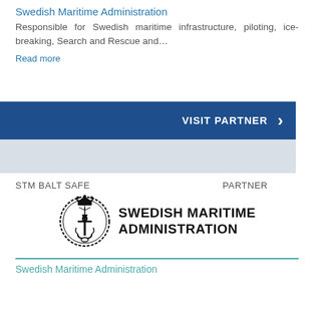Swedish Maritime Administration
Responsible for Swedish maritime infrastructure, piloting, ice-breaking, Search and Rescue and…
Read more
VISIT PARTNER
STM BALT SAFE    PARTNER
[Figure (logo): Swedish Maritime Administration logo with circular emblem featuring anchor and crown, black and white]
Swedish Maritime Administration